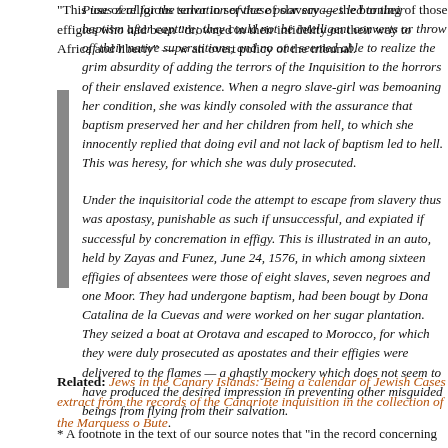"This use of religious terror in service of slavery — the burning of those effigies who had been "drowned in their infidelity on their way to Africa and liberty" — was an overt policy of the tribunal.
Pious zeal for the salvation of these poor savages led to their baptism after capture; they could not be intelligent converts or throw off their native superstitions, and no one seemed able to realize the grim absurdity of adding the terrors of the Inquisition to the horrors of their enslaved existence. When a negro slave-girl was bemoaning her condition, she was kindly consoled with the assurance that baptism preserved her and her children from hell, to which she innocently replied that doing evil and not lack of baptism led to hell. This was heresy, for which she was duly prosecuted.

Under the inquisitorial code the attempt to escape from slavery thus was apostasy, punishable as such if unsuccessful, and expiated if successful by concremation in effigy. This is illustrated in an auto, held by Zayas and Funez, June 24, 1576, in which among sixteen effigies of absentees were those of eight slaves, seven negroes and one Moor. They had undergone baptism, had been bougt by Dona Catalina de la Cuevas and were worked on her sugar plantation. They seized a boat at Orotava and escaped to Morocco, for which they were duly prosecuted as apostates and their effigies were delivered to the flames — a ghastly mockery which does not seem to have produced the desired impression in preventing other misguided beings from flying from their salvation.
Related: Jews in the Canary Islands: Being a calendar of Jewish Cases extracted from the records of the Canariote inquisition in the collection of the Marquess of Bute.
* A footnote in the text of our source notes that "in the record concerning Juan c